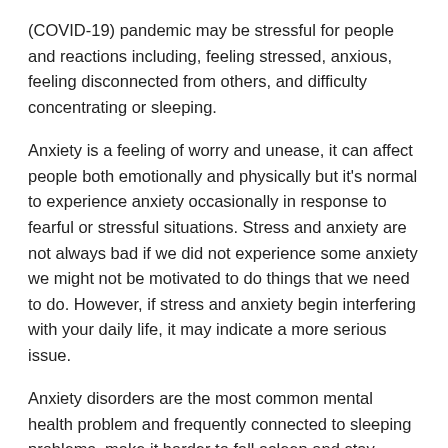(COVID-19) pandemic may be stressful for people and reactions including, feeling stressed, anxious, feeling disconnected from others, and difficulty concentrating or sleeping.
Anxiety is a feeling of worry and unease, it can affect people both emotionally and physically but it's normal to experience anxiety occasionally in response to fearful or stressful situations. Stress and anxiety are not always bad if we did not experience some anxiety we might not be motivated to do things that we need to do. However, if stress and anxiety begin interfering with your daily life, it may indicate a more serious issue.
Anxiety disorders are the most common mental health problem and frequently connected to sleeping problems, make it harder to fall asleep and stay asleep through the night. Research has consistently shown that both sleep and...